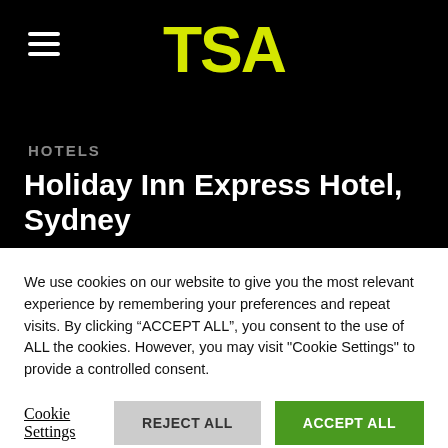[Figure (logo): TSA logo in yellow bold text on black background with hamburger menu icon on the left]
HOTELS
Holiday Inn Express Hotel, Sydney
We use cookies on our website to give you the most relevant experience by remembering your preferences and repeat visits. By clicking “ACCEPT ALL”, you consent to the use of ALL the cookies. However, you may visit "Cookie Settings" to provide a controlled consent.
Cookie Settings   REJECT ALL   ACCEPT ALL